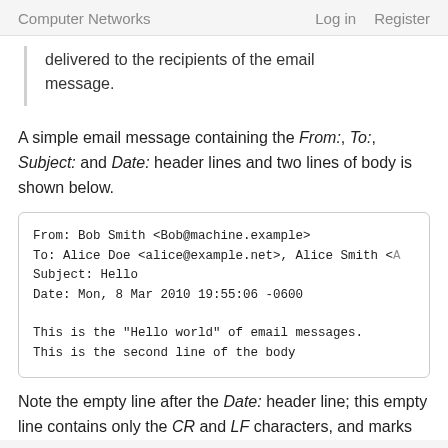Computer Networks   Log in   Register
delivered to the recipients of the email message.
A simple email message containing the From:, To:, Subject: and Date: header lines and two lines of body is shown below.
[Figure (screenshot): Code box showing a sample email message with From, To, Subject, Date header lines and two body lines.]
Note the empty line after the Date: header line; this empty line contains only the CR and LF characters, and marks